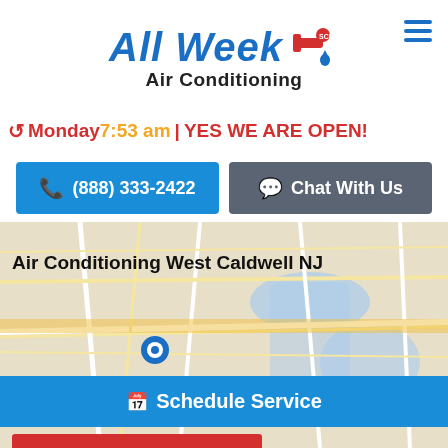[Figure (logo): All Week Air Conditioning logo with script text, red pipe/faucet icon, and blue water drop]
🕐 Monday 7:53 am | YES WE ARE OPEN!
(888) 333-2422
Chat With Us
[Figure (map): Google Maps style map showing West Caldwell NJ area with roads and water bodies]
Air Conditioning West Caldwell NJ
Schedule Service
Service Plans
Free Quote